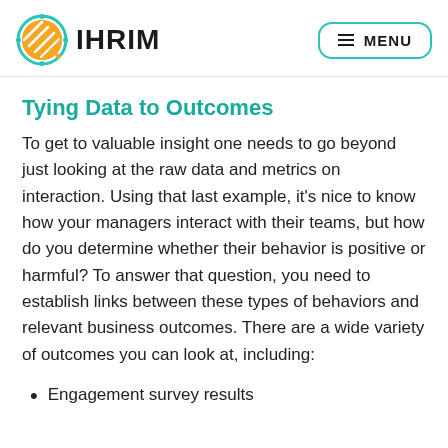IHRIM | MENU
Tying Data to Outcomes
To get to valuable insight one needs to go beyond just looking at the raw data and metrics on interaction. Using that last example, it's nice to know how your managers interact with their teams, but how do you determine whether their behavior is positive or harmful? To answer that question, you need to establish links between these types of behaviors and relevant business outcomes. There are a wide variety of outcomes you can look at, including:
Engagement survey results